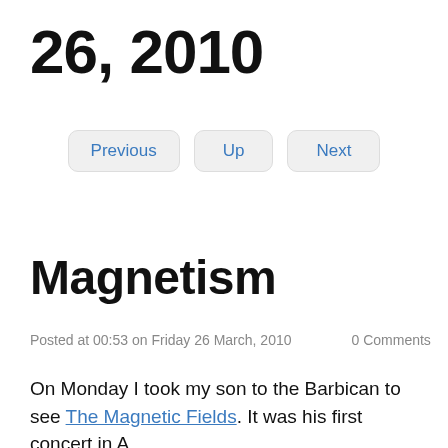26, 2010
Previous  Up  Next
Magnetism
Posted at 00:53 on Friday 26 March, 2010     0 Comments
On Monday I took my son to the Barbican to see The Magnetic Fields. It was his first concert in A...